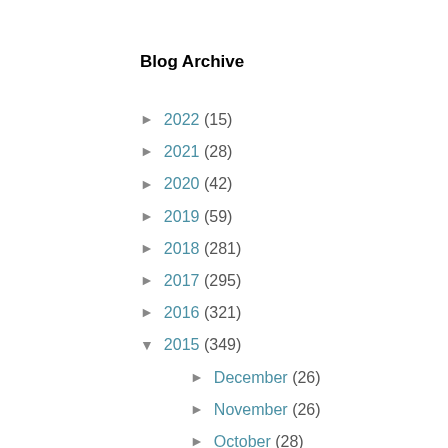Blog Archive
► 2022 (15)
► 2021 (28)
► 2020 (42)
► 2019 (59)
► 2018 (281)
► 2017 (295)
► 2016 (321)
▼ 2015 (349)
► December (26)
► November (26)
► October (28)
► September (29)
► August (29)
► July (32)
► June (29)